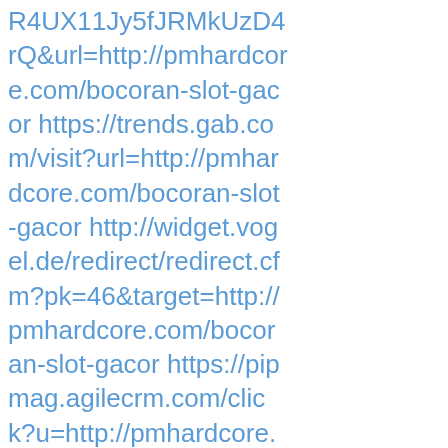R4UX11Jy5fJRMkUzD4rQ&url=http://pmhardcore.com/bocoran-slot-gacor https://trends.gab.com/visit?url=http://pmhardcore.com/bocoran-slot-gacor http://widget.vogel.de/redirect/redirect.cfm?pk=46&target=http://pmhardcore.com/bocoran-slot-gacor https://pipmag.agilecrm.com/click?u=http://pmhardcore.com/bocoran-slot-gacor http://lazer.publico.pt/artigo.asp?id=http://pmhardcore.com/bocoran-slot-gacor http://ssomgmt.ascd.org/profile/createsso/createsso.aspx?returnURL=http://pmhardco re.com/bocoran-slot-gacor http://5cfxm.hxrs6.servertrust.com/v/affiliate/setCookie.asp?catId=1180&